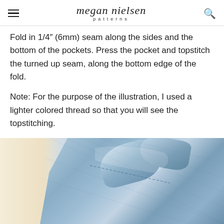megan nielsen patterns
Fold in 1/4" (6mm) seam along the sides and the bottom of the pockets. Press the pocket and topstitch the turned up seam, along the bottom edge of the fold.
Note: For the purpose of the illustration, I used a lighter colored thread so that you will see the topstitching.
[Figure (photo): A blue chambray fabric piece being sewn, showing a pocket or garment piece with topstitching visible, photographed against a cream/beige background.]